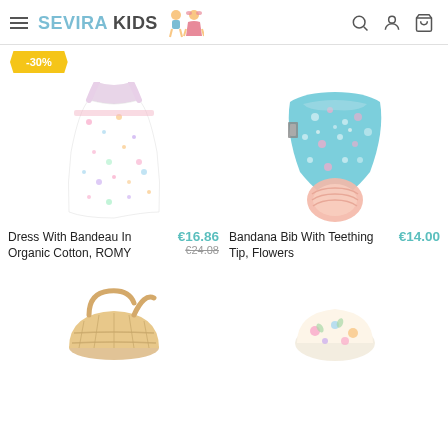SEVIRA KIDS
-30%
[Figure (photo): Floral dress with bandeau in organic cotton (ROMY), white background]
[Figure (photo): Blue floral bandana bib with pink teething tip, white background]
Dress With Bandeau In Organic Cotton, ROMY
€16.86 €24.08
Bandana Bib With Teething Tip, Flowers
€14.00
[Figure (photo): Wicker basket or rattan bag, partially visible at bottom left]
[Figure (photo): Floral item partially visible at bottom right]